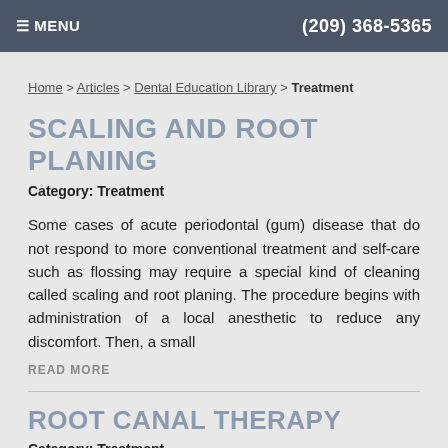≡ MENU  (209) 368-5365
Home > Articles > Dental Education Library > Treatment
SCALING AND ROOT PLANING
Category: Treatment
Some cases of acute periodontal (gum) disease that do not respond to more conventional treatment and self-care such as flossing may require a special kind of cleaning called scaling and root planing. The procedure begins with administration of a local anesthetic to reduce any discomfort. Then, a small
READ MORE
ROOT CANAL THERAPY
Category: Treatment